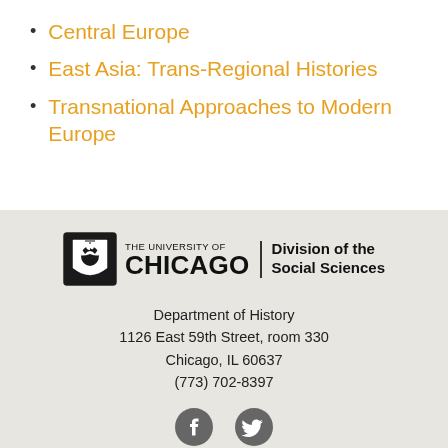Central Europe
East Asia: Trans-Regional Histories
Transnational Approaches to Modern Europe
[Figure (logo): The University of Chicago Division of the Social Sciences logo with shield emblem]
Department of History
1126 East 59th Street, room 330
Chicago, IL 60637
(773) 702-8397
[Figure (illustration): Facebook and Twitter social media icons]